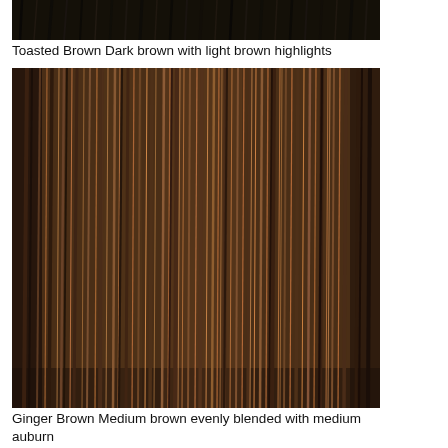[Figure (photo): Close-up of dark black hair strands, partially visible at top of page]
Toasted Brown Dark brown with light brown highlights
[Figure (photo): Close-up of medium brown hair with auburn/copper highlights streaked through, showing a warm toasted brown color with lighter highlight strands]
Ginger Brown Medium brown evenly blended with medium auburn